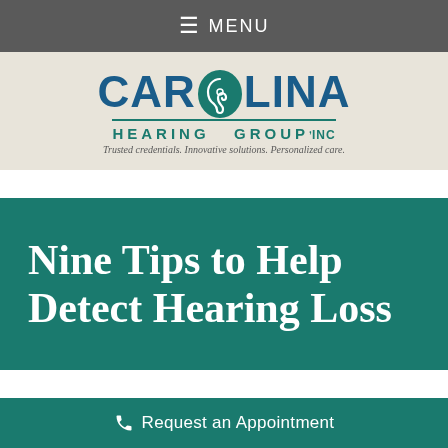MENU
[Figure (logo): Carolina Hearing Group, Inc. logo with teal ear graphic replacing the O in Carolina. Tagline: Trusted credentials. Innovative solutions. Personalized care.]
Nine Tips to Help Detect Hearing Loss
Request an Appointment